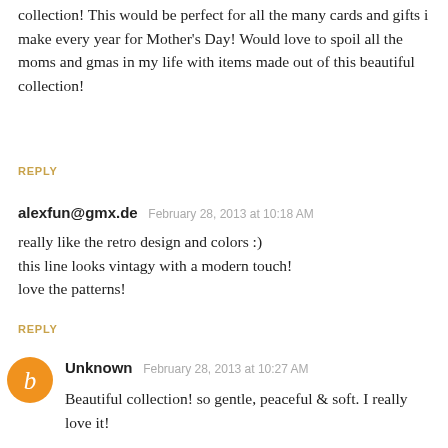collection! This would be perfect for all the many cards and gifts i make every year for Mother's Day! Would love to spoil all the moms and gmas in my life with items made out of this beautiful collection!
REPLY
alexfun@gmx.de  February 28, 2013 at 10:18 AM
really like the retro design and colors :)
this line looks vintagy with a modern touch!
love the patterns!
REPLY
Unknown  February 28, 2013 at 10:27 AM
Beautiful collection! so gentle, peaceful & soft. I really love it!
REPLY
Suzette  February 28, 2013 at 12:23 PM
What a lovely collection! I can see so many